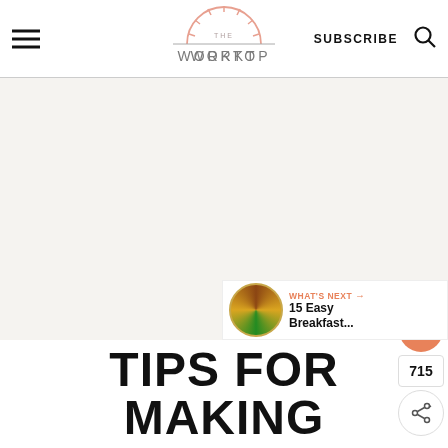The Worktop — SUBSCRIBE
[Figure (photo): Large white/gray background image area, main content placeholder for The Worktop website]
715
WHAT'S NEXT → 15 Easy Breakfast...
TIPS FOR MAKING